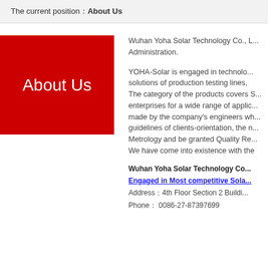The current position：About Us
About Us
Wuhan Yoha Solar Technology Co., L... Administration.
YOHA-Solar is engaged in techno... solutions of production testing lines, ... The category of the products covers S... enterprises for a wide range of applic... made by the company's engineers wh... guidelines of clients-orientation, the n... Metrology and be granted Quality Re... We have come into existence with the
Wuhan Yoha Solar Technology Co...
Engaged in Most competitive Sola...
Address：4th Floor Section 2 Buildi...
Phone： 0086-27-87397699